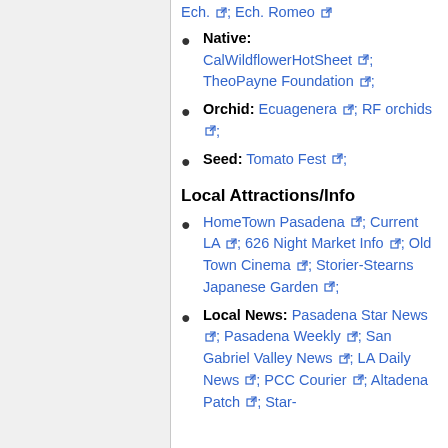Native: CalWildflowerHotSheet; TheoPayne Foundation;
Orchid: Ecuagenera; RF orchids;
Seed: Tomato Fest;
Local Attractions/Info
HomeTown Pasadena; Current LA; 626 Night Market Info; Old Town Cinema; Storier-Stearns Japanese Garden;
Local News: Pasadena Star News; Pasadena Weekly; San Gabriel Valley News; LA Daily News; PCC Courier; Altadena Patch; Star-